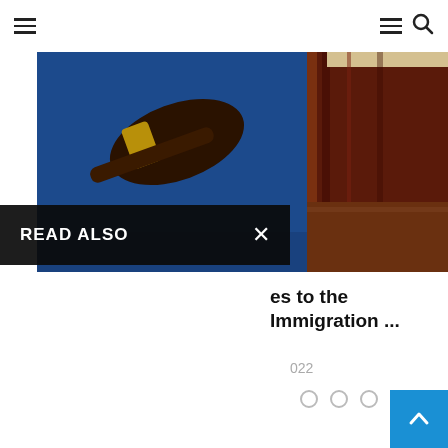Navigation bar with hamburger menus and search icon
[Figure (photo): Photo of a judge's gavel (dark wood with gold band) resting on a blue surface, with law books visible on the right side with red and dark spines]
READ ALSO
es to the Immigration ...
022
[Figure (other): Pagination dots: four hollow circles in a row]